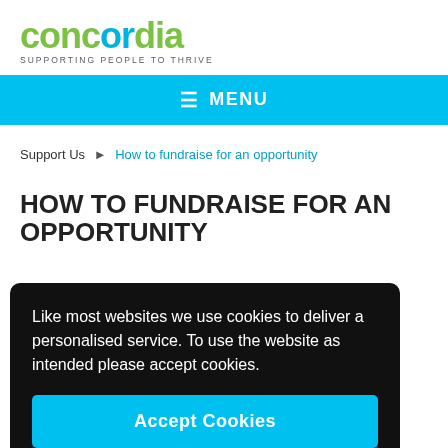[Figure (logo): Concordia logo with tagline 'SUPPORTING PEOPLE TO THRIVE']
≡ MENU
Support Us > How to fundraise for an opportunity
HOW TO FUNDRAISE FOR AN OPPORTUNITY
Like most websites we use cookies to deliver a personalised service. To use the website as intended please accept cookies.
Accept Cookies